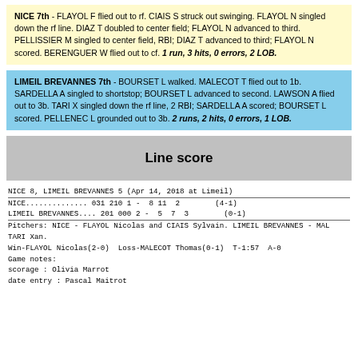NICE 7th - FLAYOL F flied out to rf. CIAIS S struck out swinging. FLAYOL N singled down the rf line. DIAZ T doubled to center field; FLAYOL N advanced to third. PELLISSIER M singled to center field, RBI; DIAZ T advanced to third; FLAYOL N scored. BERENGUER W flied out to cf. 1 run, 3 hits, 0 errors, 2 LOB.
LIMEIL BREVANNES 7th - BOURSET L walked. MALECOT T flied out to 1b. SARDELLA A singled to shortstop; BOURSET L advanced to second. LAWSON A flied out to 3b. TARI X singled down the rf line, 2 RBI; SARDELLA A scored; BOURSET L scored. PELLENEC L grounded out to 3b. 2 runs, 2 hits, 0 errors, 1 LOB.
Line score
| Team | Score | R | H | E | Record |
| --- | --- | --- | --- | --- | --- |
| NICE | 031 210 1 - | 8 | 11 | 2 | (4-1) |
| LIMEIL BREVANNES | 201 000 2 - | 5 | 7 | 3 | (0-1) |
Pitchers: NICE - FLAYOL Nicolas and CIAIS Sylvain. LIMEIL BREVANNES - MAL TARI Xan.
Win-FLAYOL Nicolas(2-0)  Loss-MALECOT Thomas(0-1)  T-1:57  A-0
Game notes:
scorage : Olivia Marrot
date entry : Pascal Maitrot